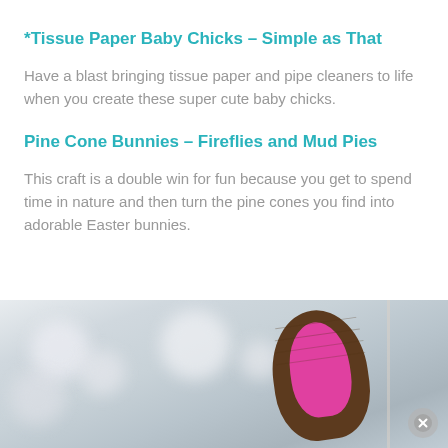*Tissue Paper Baby Chicks – Simple as That
Have a blast bringing tissue paper and pipe cleaners to life when you create these super cute baby chicks.
Pine Cone Bunnies – Fireflies and Mud Pies
This craft is a double win for fun because you get to spend time in nature and then turn the pine cones you find into adorable Easter bunnies.
[Figure (photo): A close-up photo of a pine cone Easter bunny craft showing a brown textured pine cone with a bright pink inner bunny ear, against a soft blurred white/grey background with small round shapes.]